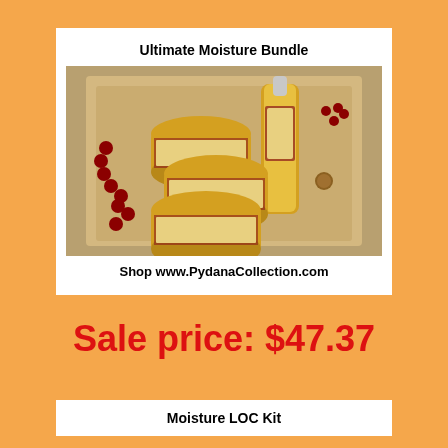[Figure (photo): Product card showing 'Ultimate Moisture Bundle' with a photo of gold-labeled hair/skin care product jars and bottle arranged on a tray with red berries and beads, caption 'Shop www.PydanaCollection.com']
Sale price:  $47.37
[Figure (photo): Partial product card at bottom showing 'Moisture LOC Kit']